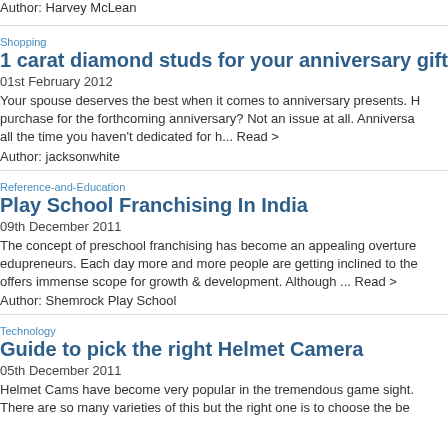Author: Harvey McLean
Shopping
1 carat diamond studs for your anniversary gift
01st February 2012
Your spouse deserves the best when it comes to anniversary presents. H... purchase for the forthcoming anniversary? Not an issue at all. Anniversa... all the time you haven't dedicated for h... Read >
Author: jacksonwhite
Reference-and-Education
Play School Franchising In India
09th December 2011
The concept of preschool franchising has become an appealing overture edupreneurs. Each day more and more people are getting inclined to the offers immense scope for growth & development. Although ... Read >
Author: Shemrock Play School
Technology
Guide to pick the right Helmet Camera
05th December 2011
Helmet Cams have become very popular in the tremendous game sight. There are so many varieties of this but the right one is to choose the be...